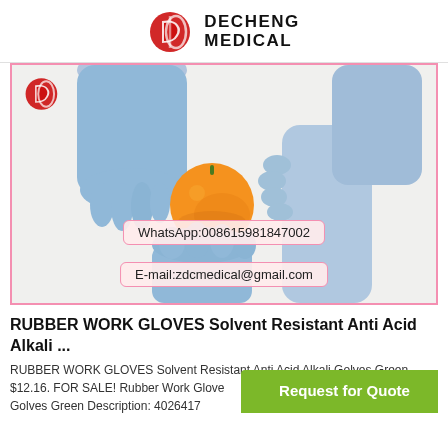DECHENG MEDICAL
[Figure (photo): Two hands wearing blue nitrile gloves holding an orange fruit, with WhatsApp and email contact overlays. Decheng Medical logo in top-left of image.]
RUBBER WORK GLOVES Solvent Resistant Anti Acid Alkali ...
RUBBER WORK GLOVES Solvent Resistant Anti Acid Alkali Golves Green - $12.16. FOR SALE! Rubber Work Gloves Solvent Resistant Anti Acid Alkali Golves Green Description: 402641773
Request for Quote